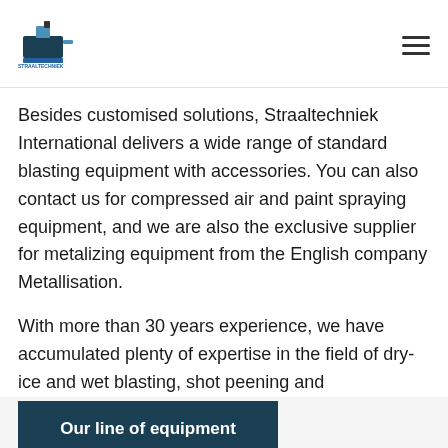Straaltechniek International logo and navigation
Besides customised solutions, Straaltechniek International delivers a wide range of standard blasting equipment with accessories. You can also contact us for compressed air and paint spraying equipment, and we are also the exclusive supplier for metalizing equipment from the English company Metallisation.
With more than 30 years experience, we have accumulated plenty of expertise in the field of dry-ice and wet blasting, shot peening and
Our line of equipment
[Figure (photo): World map illustration with blue highlighted regions, showing international presence]